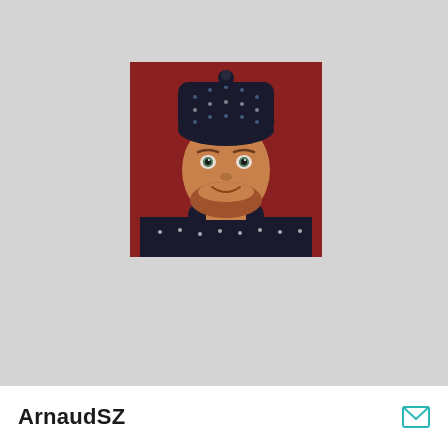[Figure (photo): Portrait photo of a man wearing a dark knit beanie hat with a small pompom, green eyes, reddish beard, wearing a dark Nordic-pattern turtleneck sweater. Background is deep red/crimson. The man is smiling slightly and looking directly at the camera.]
ArnaudSZ